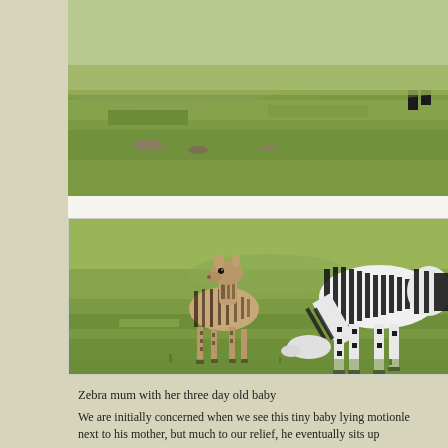[Figure (photo): Partial view of zebras on a green grassy savanna field, showing legs and lower body of zebras in the background]
[Figure (photo): A young zebra foal (three days old) standing on green grass next to its mother zebra who is grazing with her head down]
Zebra mum with her three day old baby
We are initially concerned when we see this tiny baby lying motionless next to his mother, but much to our relief, he eventually sits up